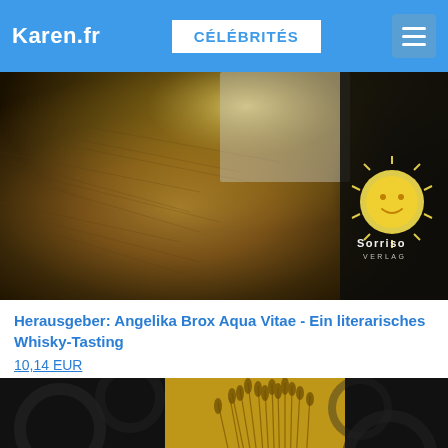Karen.fr | CÉLÉBRITÉS
[Figure (photo): Close-up brown texture with golden light beam and Sorriso Verlag logo (smiling sun) on dark background]
Herausgeber: Angelika Brox Aqua Vitae - Ein literarisches Whisky-Tasting
10,14 EUR
[Figure (photo): Dark background with golden wheat/grain close-up image in centre panel]